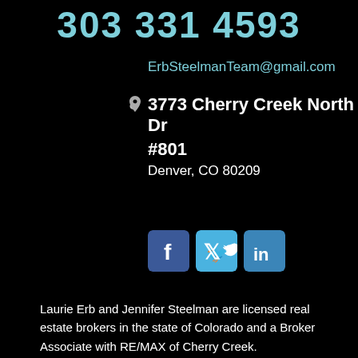303 331 4593
ErbSteelmanTeam@gmail.com
3773 Cherry Creek North Dr #801 Denver, CO 80209
[Figure (other): Social media icons: Facebook, Twitter, LinkedIn]
Laurie Erb and Jennifer Steelman are licensed real estate brokers in the state of Colorado and a Broker Associate with RE/MAX of Cherry Creek.